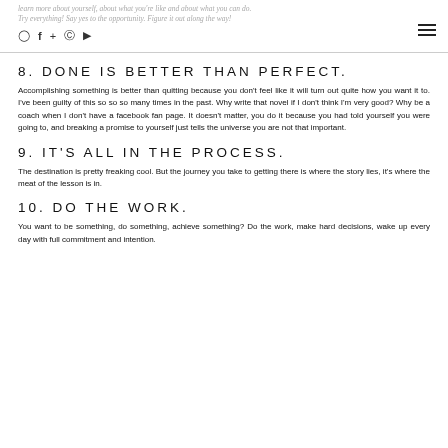learn more about yourself, about what you're like and about what you can do. Try everything! Say yes to the opportunity. Figure it out along the way!
8. DONE IS BETTER THAN PERFECT.
Accomplishing something is better than quitting because you don't feel like it will turn out quite how you want it to. I've been guilty of this so so so many times in the past. Why write that novel if I don't think I'm very good? Why be a coach when I don't have a facebook fan page. It doesn't matter, you do it because you had told yourself you were going to, and breaking a promise to yourself just tells the universe you are not that important.
9. IT'S ALL IN THE PROCESS.
The destination is pretty freaking cool. But the journey you take to getting there is where the story lies, it's where the meat of the lesson is in.
10. DO THE WORK.
You want to be something, do something, achieve something? Do the work, make hard decisions, wake up every day with full commitment and intention.